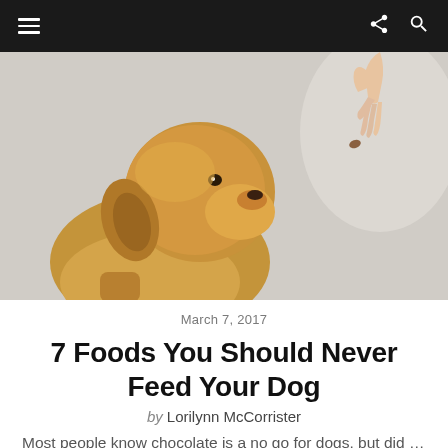Navigation bar with hamburger menu, share icon, and search icon
[Figure (photo): A small fluffy golden terrier dog raising its head to sniff or eat a treat being offered by a human hand from above, against a light gray background.]
March 7, 2017
7 Foods You Should Never Feed Your Dog
by Lorilynn McCorrister
Most people know chocolate is a no go for dogs, but did you